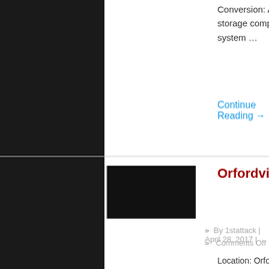Conversion: Aluminum Flatbed with storage compartments and fire fighting system …
Continue Reading →
[Figure (photo): Black thumbnail image for Orfordville Fire Dept. entry]
Orfordville Fire Dept.
By 1stattack | April 28, 2017 | Comments Off
Location: Orfordville, WI Chassis: 2017 Ford F450 Crew Cab Engine: 6.8L V10 Gas 1st Attack Engineering, Inc. Aluminum Flatbed Conversion: Aluminum Flatbed with storage compartments and fire fighting system Man-wells …
Continue Reading →
[Figure (photo): Photo thumbnail for City of Merrill Fire entry showing a red fire truck]
City of Merrill Fire